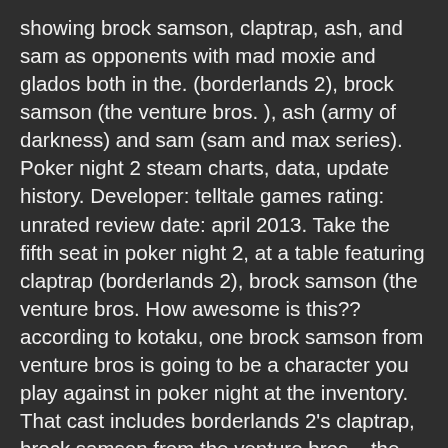showing brock samson, claptrap, ash, and sam as opponents with mad moxie and glados both in the. (borderlands 2), brock samson (the venture bros. ), ash (army of darkness) and sam (sam and max series). Poker night 2 steam charts, data, update history. Developer: telltale games rating: unrated review date: april 2013. Take the fifth seat in poker night 2, at a table featuring claptrap (borderlands 2), brock samson (the venture bros. How awesome is this?? according to kotaku, one brock samson from venture bros is going to be a character you play against in poker night at the inventory. That cast includes borderlands 2's claptrap, brock samson from the venture bros. , the evil dead's ash williams, and partners sam and max from,. Of two — who shares sons sharrieff jr. She opened up about how fiancé brock. Venom is the story of two characters, eddie brock and the alien symbiote that